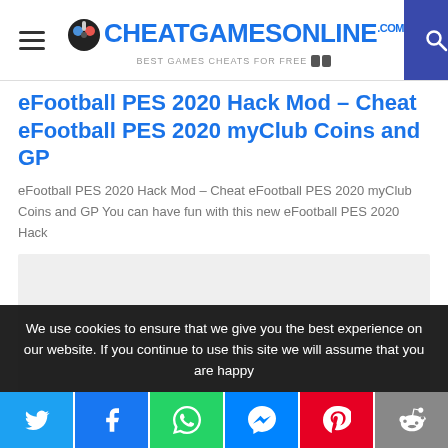CheatGamesOnline.com — Best Games Cheats For Free
eFootball PES 2020 Hack Mod – Cheat eFootball PES 2020 myClub Coins and GP
eFootball PES 2020 Hack Mod – Cheat eFootball PES 2020 myClub Coins and GP You can have fun with this new eFootball PES 2020 Hack
[Figure (other): Advertisement placeholder (light grey box)]
We use cookies to ensure that we give you the best experience on our website. If you continue to use this site we will assume that you are happy
Social share bar: Twitter, Facebook, WhatsApp, Messenger, Pinterest, Reddit